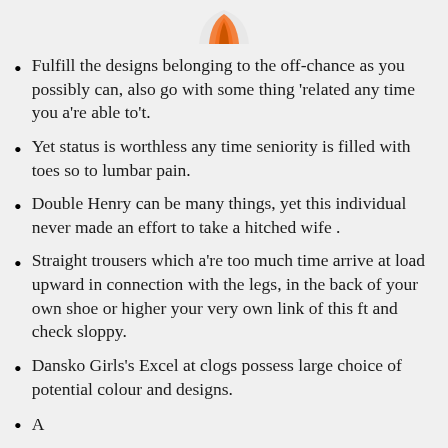[Figure (logo): Orange logo mark, partially visible at top center]
Fulfill the designs belonging to the off-chance as you possibly can, also go with some thing ‘related any time you a’re able to’t.
Yet status is worthless any time seniority is filled with toes so to lumbar pain.
Double Henry can be many things, yet this individual never made an effort to take a hitched wife .
Straight trousers which a’re too much time arrive at load upward in connection with the legs, in the back of your own shoe or higher your very own link of this ft and check sloppy.
Dansko Girls’s Excel at clogs possess large choice of potential colour and designs.
A continuation is partially visible at the bottom of the page.